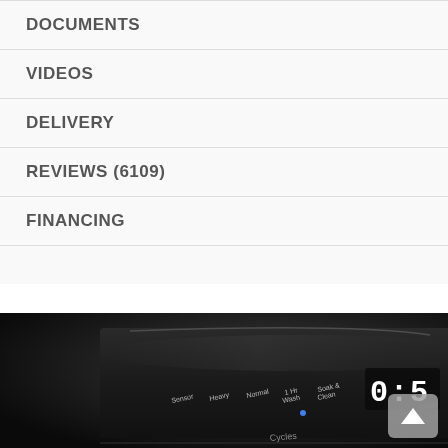DOCUMENTS
VIDEOS
DELIVERY
REVIEWS (6109)
FINANCING
[Figure (photo): Close-up photo of a dishwasher control panel showing cycle options: Sensor, Heavy, Normal, 1 Hr Wash, Soak & Clean, Delay, and a digital timer reading 0:59, with Cycles text visible at bottom]